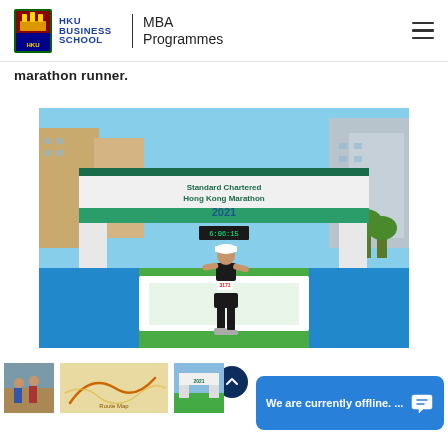HKU BUSINESS SCHOOL | MBA Programmes
marathon runner.
[Figure (photo): A woman standing at the finish line of the Standard Chartered Hong Kong Marathon 2021, wearing a white cap and black athletic outfit with race bib number, on a green finish area with the marathon arch overhead.]
[Figure (photo): Thumbnail images at bottom of page showing running or marathon related photos]
We are currently offline. ...